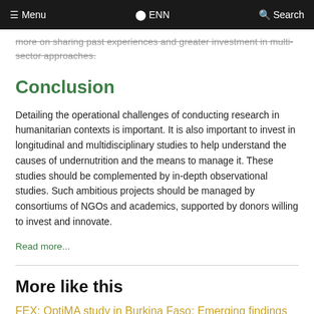Menu  ENN  Search
more on sharing past experiences and greater investment in multi-sector approaches.
Conclusion
Detailing the operational challenges of conducting research in humanitarian contexts is important. It is also important to invest in longitudinal and multidisciplinary studies to help understand the causes of undernutrition and the means to manage it. These studies should be complemented by in-depth observational studies. Such ambitious projects should be managed by consortiums of NGOs and academics, supported by donors willing to invest and innovate.
Read more...
More like this
FEX: OptiMA study in Burkina Faso: Emerging findings and additional insights